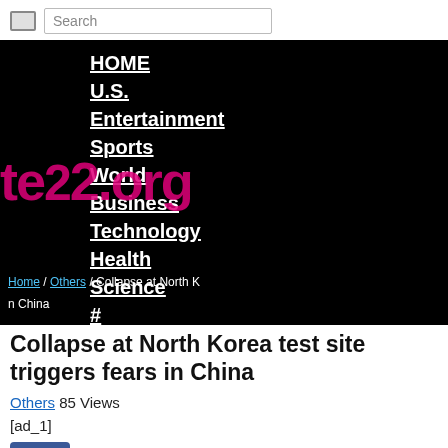Search
[Figure (screenshot): Black navigation menu overlay with links: HOME, U.S., Entertainment, Sports, World, Business, Technology, Health, Science, #, Contact Us. A pink/magenta watermark reading 'te22.org' overlays the menu. A breadcrumb navigation bar shows Home / Others / Collapse at North Korea test site triggers fears in China.]
Collapse at North Korea test site triggers fears in China
Others 85 Views
[ad_1]
[Figure (logo): Facebook share button icon — blue square with white 'f' letter.]